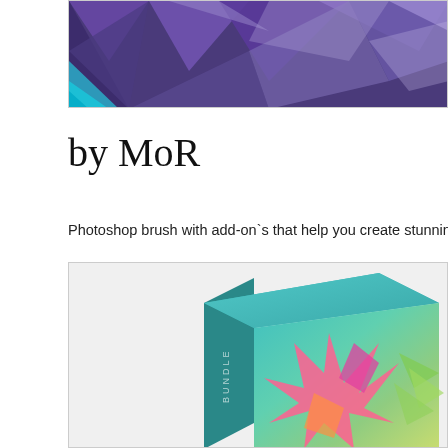[Figure (photo): Abstract 3D low-poly art with purple and blue geometric shapes on a dark background, cropped at top]
by MoR
Photoshop brush with add-on`s that help you create stunning abstract 3d art lik
[Figure (photo): Product box mockup with teal/green gradient and colorful abstract 3D paper crane or star shapes on the front, with 'BUNDLE' text on the spine]